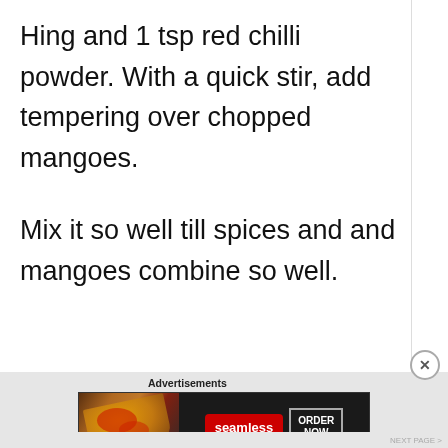Hing and 1 tsp red chilli powder. With a quick stir, add tempering over chopped mangoes.
Mix it so well till spices and and mangoes combine so well.
[Figure (other): Advertisement banner for Seamless food delivery showing pizza image on left, Seamless red button in center, and ORDER NOW button on right]
NEXT PAGE >